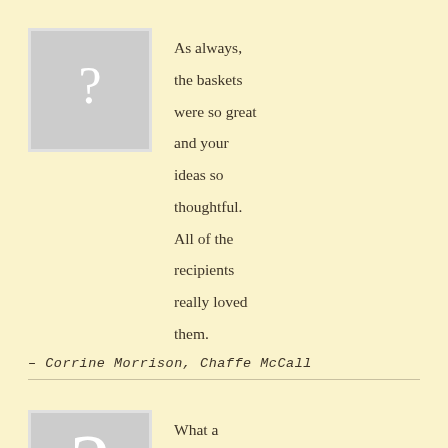[Figure (illustration): Gray square placeholder image with a white question mark, first testimonial]
As always, the baskets were so great and your ideas so thoughtful. All of the recipients really loved them.
– Corrine Morrison, Chaffe McCall
[Figure (illustration): Gray square placeholder image with a white question mark, second testimonial]
What a blessing that I found you. You have made